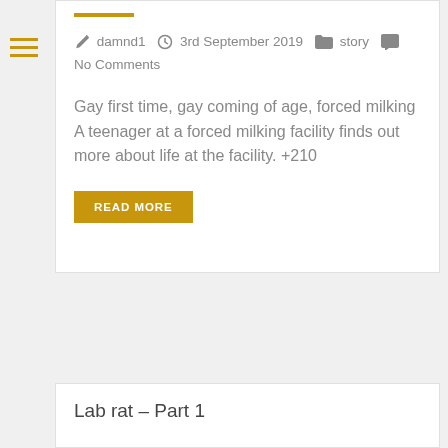damnd1  3rd September 2019  story  No Comments
Gay first time, gay coming of age, forced milking A teenager at a forced milking facility finds out more about life at the facility. +210
READ MORE
Lab rat – Part 1